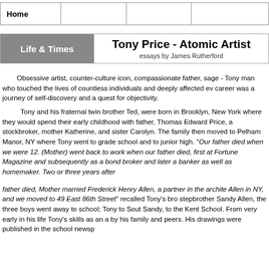Home
Tony Price - Atomic Artist
Life & Times
essays by James Rutherford
Obsessive artist, counter-culture icon, compassionate father, sage - Tony man who touched the lives of countless individuals and deeply affected ev career was a journey of self-discovery and a quest for objectivity.

Tony and his fraternal twin brother Ted, were born in Brooklyn, New York where they would spend their early childhood with father, Thomas Edward Price, a stockbroker, mother Katherine, and sister Carolyn. The family then moved to Pelham Manor, NY where Tony went to grade school and to junior high. "Our father died when we were 12. (Mother) went back to work when our father died, first at Fortune Magazine and subsequently as a bond broker and later a banker as well as homemaker. Two or three years after

father died, Mother married Frederick Henry Allen, a partner in the archite Allen in NY, and we moved to 49 East 86th Street" recalled Tony's bro stepbrother Sandy Allen, the three boys went away to school; Tony to Sout Sandy, to the Kent School. From very early in his life Tony's skills as an a by his family and peers. His drawings were published in the school newsp